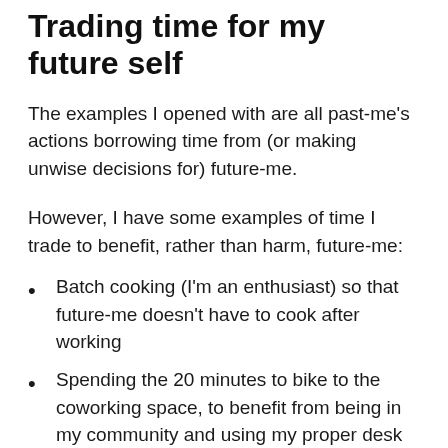Trading time for my future self
The examples I opened with are all past-me's actions borrowing time from (or making unwise decisions for) future-me.
However, I have some examples of time I trade to benefit, rather than harm, future-me:
Batch cooking (I'm an enthusiast) so that future-me doesn't have to cook after working
Spending the 20 minutes to bike to the coworking space, to benefit from being in my community and using my proper desk set-up
Writing instead of other activities, spending the next day outside for example.